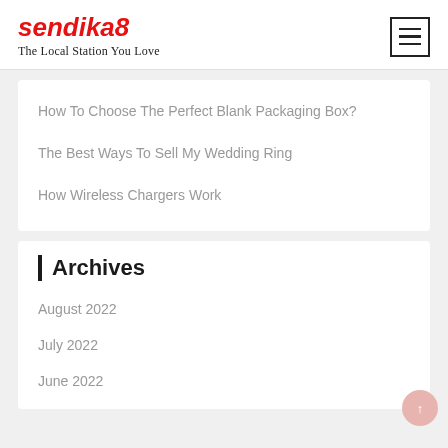sendika8 — The Local Station You Love
How To Choose The Perfect Blank Packaging Box?
The Best Ways To Sell My Wedding Ring
How Wireless Chargers Work
Archives
August 2022
July 2022
June 2022